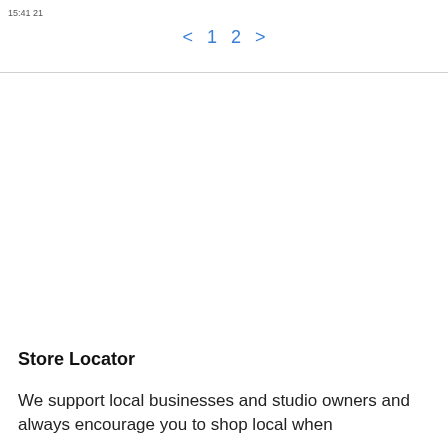15:41 21
< 1 2 >
Store Locator
We support local businesses and studio owners and always encourage you to shop local when